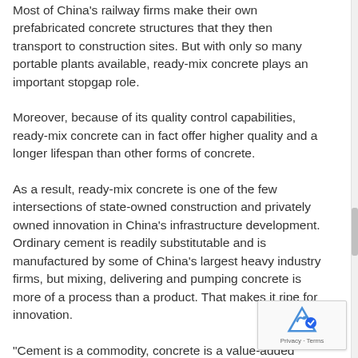Most of China's railway firms make their own prefabricated concrete structures that they then transport to construction sites. But with only so many portable plants available, ready-mix concrete plays an important stopgap role.
Moreover, because of its quality control capabilities, ready-mix concrete can in fact offer higher quality and a longer lifespan than other forms of concrete.
As a result, ready-mix concrete is one of the few intersections of state-owned construction and privately owned innovation in China's infrastructure development. Ordinary cement is readily substitutable and is manufactured by some of China's largest heavy industry firms, but mixing, delivering and pumping concrete is more of a process than a product. That makes it ripe for innovation.
"Cement is a commodity, concrete is a value-added service product," said Goodwin.